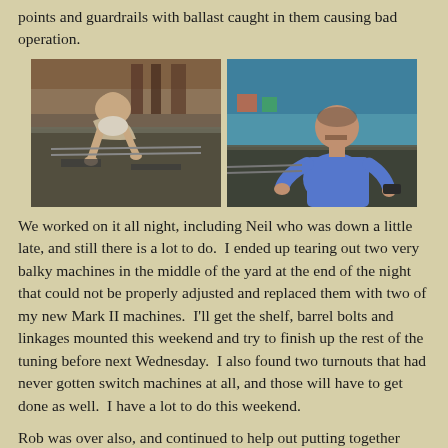points and guardrails with ballast caught in them causing bad operation.
[Figure (photo): Two side-by-side photos: left shows a bald man leaning over a model railroad layout working on it; right shows a heavier man in a blue shirt standing and holding something near a model railroad layout.]
We worked on it all night, including Neil who was down a little late, and still there is a lot to do.  I ended up tearing out two very balky machines in the middle of the yard at the end of the night that could not be properly adjusted and replaced them with two of my new Mark II machines.  I'll get the shelf, barrel bolts and linkages mounted this weekend and try to finish up the rest of the tuning before next Wednesday.  I also found two turnouts that had never gotten switch machines at all, and those will have to get done as well.  I have a lot to do this weekend.
Rob was over also, and continued to help out putting together some more freight cars.  He nearly completed two Roundhouse boxcar kits, and though he had a little trouble with them, but I think they came out well enough.  I told him not to spend so much time on them, that they were only